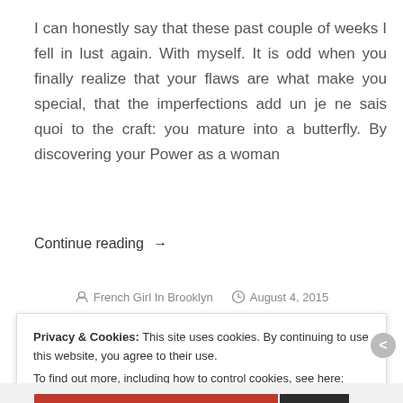I can honestly say that these past couple of weeks I fell in lust again. With myself. It is odd when you finally realize that your flaws are what make you special, that the imperfections add un je ne sais quoi to the craft: you mature into a butterfly. By discovering your Power as a woman
Continue reading →
French Girl In Brooklyn   August 4, 2015
Privacy & Cookies: This site uses cookies. By continuing to use this website, you agree to their use.
To find out more, including how to control cookies, see here: Cookie Policy
Close and accept